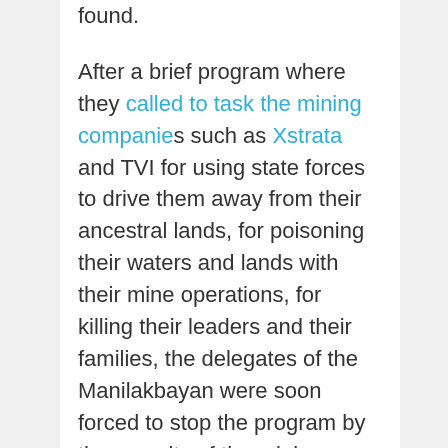found. After a brief program where they called to task the mining companies such as Xstrata and TVI for using state forces to drive them away from their ancestral lands, for poisoning their waters and lands with their mine operations, for killing their leaders and their families, the delegates of the Manilakbayan were soon forced to stop the program by the security of the mining offices, the police and in